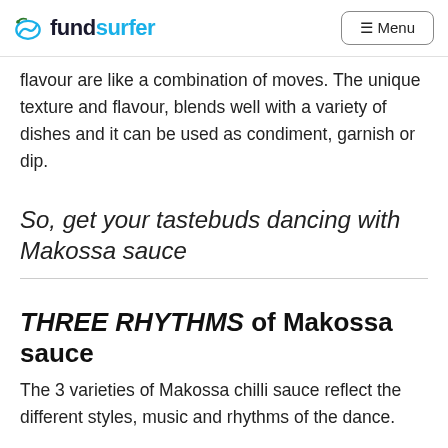fundsurfer | Menu
flavour are like a combination of moves. The unique texture and flavour, blends well with a variety of dishes and it can be used as condiment, garnish or dip.
So, get your tastebuds dancing with Makossa sauce
THREE RHYTHMS of Makossa sauce
The 3 varieties of Makossa chilli sauce reflect the different styles, music and rhythms of the dance.